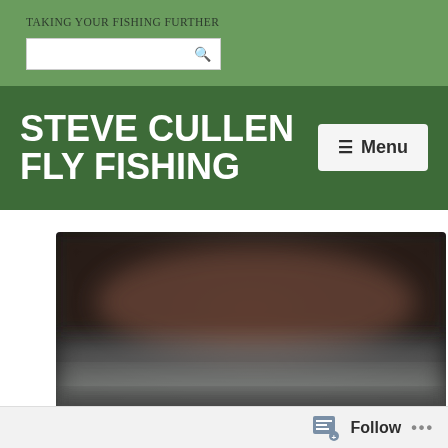TAKING YOUR FISHING FURTHER
STEVE CULLEN FLY FISHING
[Figure (screenshot): Menu button on dark green header banner]
[Figure (photo): Blurred dark outdoor/water scene photo]
Follow ...